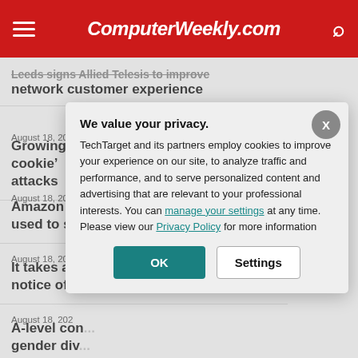ComputerWeekly.com
Leeds signs Allied Telesis to improve network customer experience
August 18, 2022
Growing MFA use spurs ‘pass-the-cookie’ attacks
August 18, 202...
Amazon Ri... used to spy...
August 18, 202...
It takes a b... notice of cy...
August 18, 202...
A-level con... gender div...
We value your privacy. TechTarget and its partners employ cookies to improve your experience on our site, to analyze traffic and performance, and to serve personalized content and advertising that are relevant to your professional interests. You can manage your settings at any time. Please view our Privacy Policy for more information